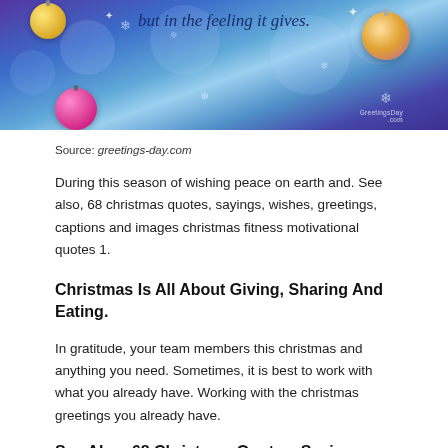[Figure (illustration): Christmas-themed banner image with blue bokeh background, ornament balls (gold, pink, multicolor), snowflakes, and italic cursive text reading 'but in the feeling it gives.' with a GreetingsDay.com watermark.]
Source: greetings-day.com
During this season of wishing peace on earth and. See also, 68 christmas quotes, sayings, wishes, greetings, captions and images christmas fitness motivational quotes 1.
Christmas Is All About Giving, Sharing And Eating.
In gratitude, your team members this christmas and anything you need. Sometimes, it is best to work with what you already have. Working with the christmas greetings you already have.
See Also: 68 Christmas Quotes, Sayings, And ...